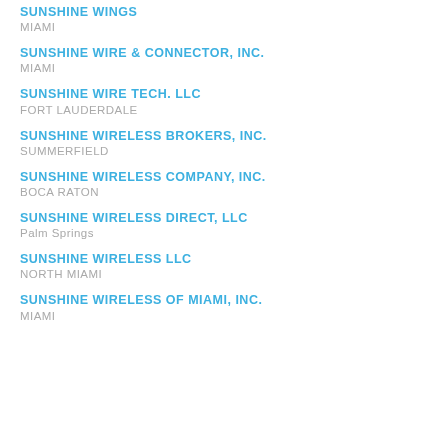SUNSHINE WINGS
MIAMI
SUNSHINE WIRE & CONNECTOR, INC.
MIAMI
SUNSHINE WIRE TECH. LLC
FORT LAUDERDALE
SUNSHINE WIRELESS BROKERS, INC.
SUMMERFIELD
SUNSHINE WIRELESS COMPANY, INC.
BOCA RATON
SUNSHINE WIRELESS DIRECT, LLC
Palm Springs
SUNSHINE WIRELESS LLC
NORTH MIAMI
SUNSHINE WIRELESS OF MIAMI, INC.
MIAMI